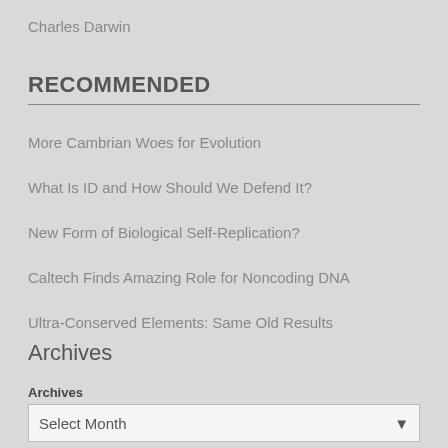Charles Darwin
RECOMMENDED
More Cambrian Woes for Evolution
What Is ID and How Should We Defend It?
New Form of Biological Self-Replication?
Caltech Finds Amazing Role for Noncoding DNA
Ultra-Conserved Elements: Same Old Results
Archives
Archives
Select Month